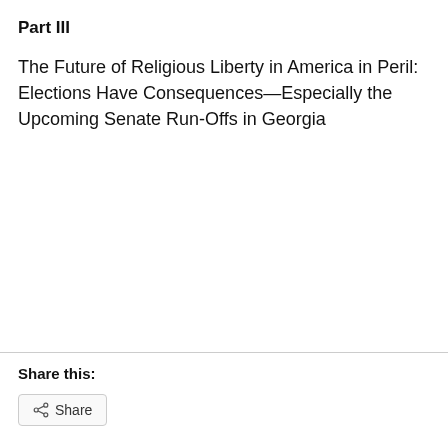Part III
The Future of Religious Liberty in America in Peril: Elections Have Consequences—Especially the Upcoming Senate Run-Offs in Georgia
Share this:
[Figure (other): Share button with share icon]
[Figure (other): Like button with star icon]
Be the first to like this.